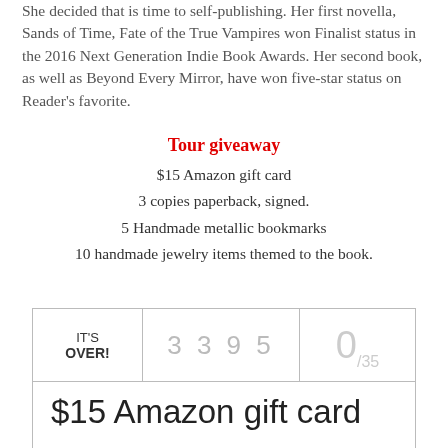She decided that is time to self-publishing. Her first novella, Sands of Time, Fate of the True Vampires won Finalist status in the 2016 Next Generation Indie Book Awards. Her second book, as well as Beyond Every Mirror, have won five-star status on Reader's favorite.
Tour giveaway
$15 Amazon gift card
3 copies paperback, signed.
5 Handmade metallic bookmarks
10 handmade jewelry items themed to the book.
[Figure (infographic): Giveaway widget showing 'IT'S OVER!' with entry count 3395 and 0/35 winners, and the prize '$15 Amazon gift card']